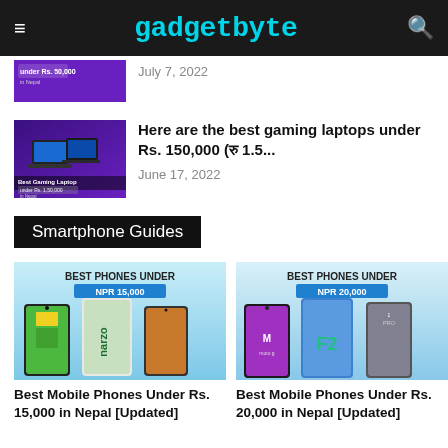gadgetbyte
[Figure (screenshot): Partially visible article thumbnail with purple background]
July 7, 2022
[Figure (photo): Best Gaming Laptop thumbnail with purple background showing laptops, under Rs. 150,000]
Here are the best gaming laptops under Rs. 150,000 (रु 1.5...
June 17, 2022
Smartphone Guides
[Figure (photo): Best Phones Under NPR 15,000 banner showing three smartphones]
Best Mobile Phones Under Rs. 15,000 in Nepal [Updated]
[Figure (photo): Best Phones Under NPR 20,000 banner showing three smartphones]
Best Mobile Phones Under Rs. 20,000 in Nepal [Updated]